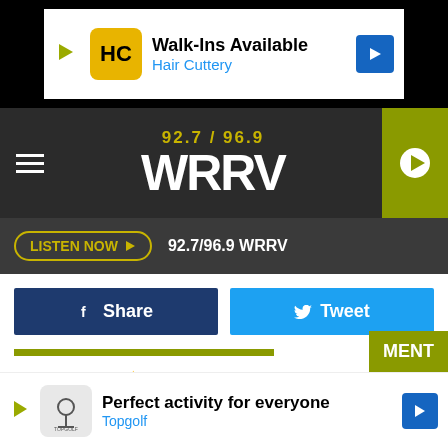[Figure (other): Hair Cuttery advertisement banner: Walk-Ins Available, Hair Cuttery]
[Figure (logo): WRRV 92.7 / 96.9 radio station logo and navigation bar]
LISTEN NOW  92.7/96.9 WRRV
Share   Tweet
LOUDWIRE Source: Taking Back Sunday to Release 'Tidal Wave' in September, Reveal Video for Title Track
Filed Under: taking back sunday
Categories: Music News, News, Videos
Com
[Figure (other): Topgolf advertisement banner: Perfect activity for everyone, Topgolf]
MENT